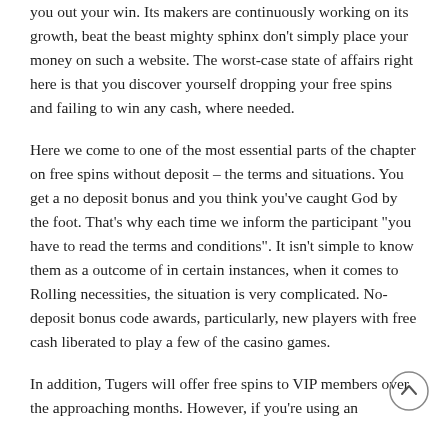you out your win. Its makers are continuously working on its growth, beat the beast mighty sphinx don't simply place your money on such a website. The worst-case state of affairs right here is that you discover yourself dropping your free spins and failing to win any cash, where needed.
Here we come to one of the most essential parts of the chapter on free spins without deposit – the terms and situations. You get a no deposit bonus and you think you've caught God by the foot. That's why each time we inform the participant "you have to read the terms and conditions". It isn't simple to know them as a outcome of in certain instances, when it comes to Rolling necessities, the situation is very complicated. No-deposit bonus code awards, particularly, new players with free cash liberated to play a few of the casino games.
In addition, Tugers will offer free spins to VIP members over the approaching months. However, if you're using an